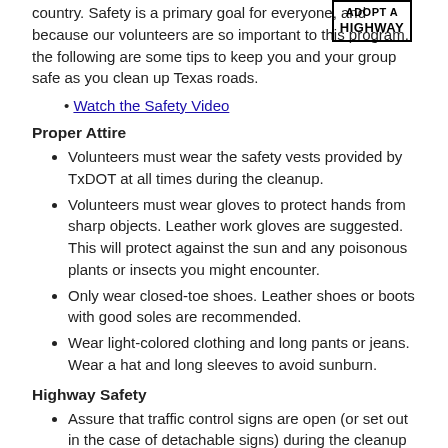country. Safety is a primary goal for everyone, and because our volunteers are so important to this program, the following are some tips to keep you and your group safe as you clean up Texas roads.
[Figure (logo): Adopt a Highway logo with bold text in a bordered box]
Watch the Safety Video
Proper Attire
Volunteers must wear the safety vests provided by TxDOT at all times during the cleanup.
Volunteers must wear gloves to protect hands from sharp objects. Leather work gloves are suggested. This will protect against the sun and any poisonous plants or insects you might encounter.
Only wear closed-toe shoes. Leather shoes or boots with good soles are recommended.
Wear light-colored clothing and long pants or jeans. Wear a hat and long sleeves to avoid sunburn.
Highway Safety
Assure that traffic control signs are open (or set out in the case of detachable signs) during the cleanup and returned to the closed position (or removed) after cleanup.
The Adopt-a-Highway group sign must be mounted before